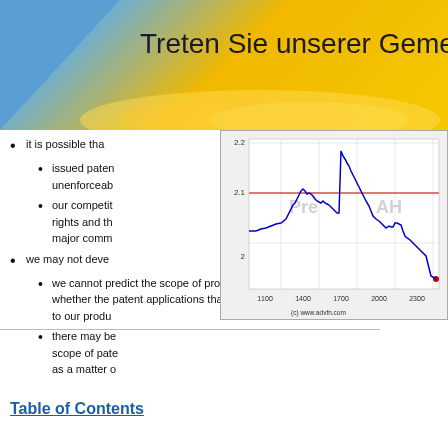Treten Sie unserer Gemeinschaft bei
it is possible that
issued patents may become invalid or unenforceable
our competitors may design around our rights and the technologies important to major commercial
we may not develop
we cannot predict the scope of protection of any patent issuing based on whether the patent applications that we own or in-license will result to our products
there may be scope of patent as a matter of
[Figure (continuous-plot): Stock price line chart showing intraday price movement between approximately 1100 and 2300 time axis, price range approximately 2.0 to 2.2, with Pre and AH markers, blue line chart, red horizontal line at ~2.1, source: (c) www.advfn.com]
[Figure (screenshot): ADVFN Trades (Time & Sales) popup overlay with dark blue background, ADVFN logo in italic white bold, green underline, subtitle Trades (Time & Sales), and trades table with columns Num, Exch., Price, Size, Type, C, T, Bid, Offer, Time showing rows with nyse trades at prices around 70.06-70.07]
Table of Contents